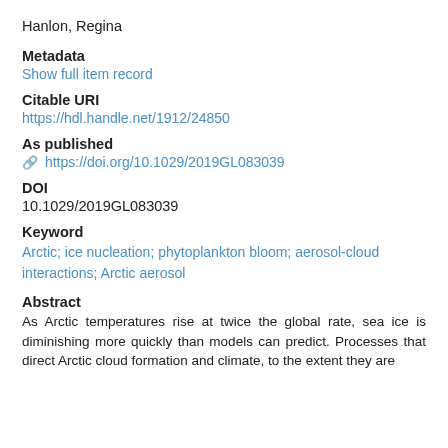Hanlon, Regina
Metadata
Show full item record
Citable URI
https://hdl.handle.net/1912/24850
As published
https://doi.org/10.1029/2019GL083039
DOI
10.1029/2019GL083039
Keyword
Arctic; ice nucleation; phytoplankton bloom; aerosol-cloud interactions; Arctic aerosol
Abstract
As Arctic temperatures rise at twice the global rate, sea ice is diminishing more quickly than models can predict. Processes that direct Arctic cloud formation and climate, to the extent they are